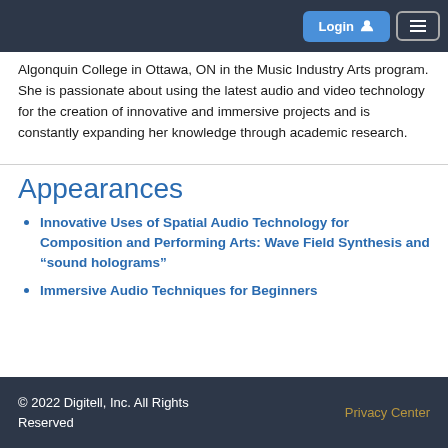Login | Menu
Algonquin College in Ottawa, ON in the Music Industry Arts program. She is passionate about using the latest audio and video technology for the creation of innovative and immersive projects and is constantly expanding her knowledge through academic research.
Appearances
Innovative Uses of Spatial Audio Technology for Composition and Performing Arts: Wave Field Synthesis and “sound holograms”
Immersive Audio Techniques for Beginners
© 2022 Digitell, Inc. All Rights Reserved | Privacy Center